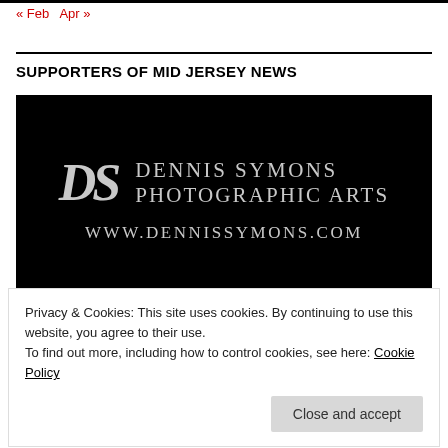« Feb   Apr »
SUPPORTERS OF MID JERSEY NEWS
[Figure (logo): Dennis Symons Photographic Arts advertisement banner. Black background with stylized DS logo in italic serif font and text reading 'DENNIS SYMONS PHOTOGRAPHIC ARTS' and 'WWW.DENNISSYMONS.COM' in light grey/silver color.]
Privacy & Cookies: This site uses cookies. By continuing to use this website, you agree to their use.
To find out more, including how to control cookies, see here: Cookie Policy
Close and accept